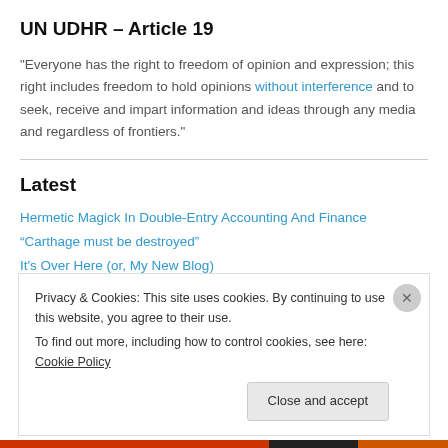UN UDHR – Article 19
"Everyone has the right to freedom of opinion and expression; this right includes freedom to hold opinions without interference and to seek, receive and impart information and ideas through any media and regardless of frontiers."
Latest
Hermetic Magick In Double-Entry Accounting And Finance
“Carthage must be destroyed”
It's Over Here (or, My New Blog)
Privacy & Cookies: This site uses cookies. By continuing to use this website, you agree to their use.
To find out more, including how to control cookies, see here: Cookie Policy